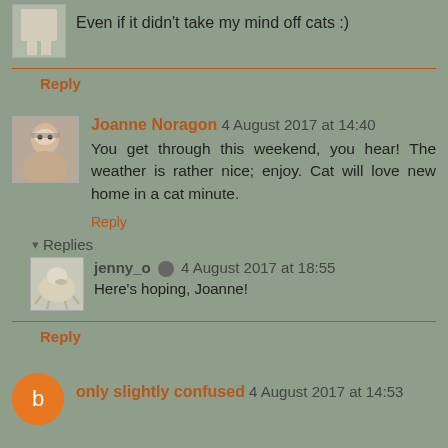Even if it didn't take my mind off cats :)
Reply
Joanne Noragon 4 August 2017 at 14:40
You get through this weekend, you hear! The weather is rather nice; enjoy. Cat will love new home in a cat minute.
Reply
Replies
jenny_o 4 August 2017 at 18:55
Here's hoping, Joanne!
Reply
only slightly confused 4 August 2017 at 14:53